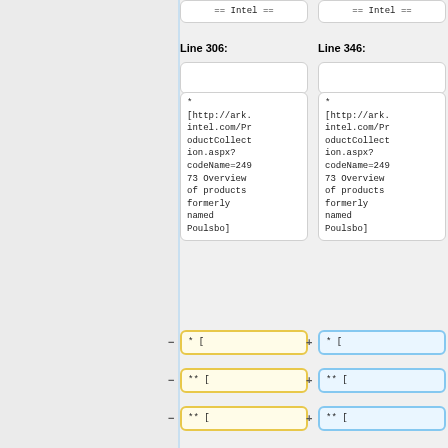== Intel ==
== Intel ==
Line 306:
Line 346:
* [http://ark.intel.com/ProductCollection.aspx?codeName=24973 Overview of products formerly named Poulsbo]
* [http://ark.intel.com/ProductCollection.aspx?codeName=24973 Overview of products formerly named Poulsbo]
* [
* [
** [
** [
** [
** [